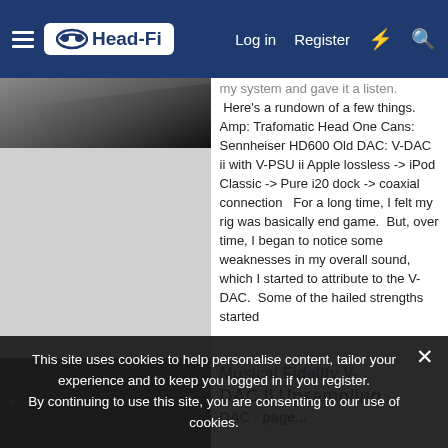Head-Fi | Log in | Register
[Figure (screenshot): Dark angled device/headphone amplifier image cropped at top]
my system and gave it a listen. Here's a rundown of a few things.   Amp: Trafomatic Head One Cans: Sennheiser HD600 Old DAC: V-DAC ii with V-PSU ii Apple lossless -> iPod Classic -> Pure i20 dock -> coaxial connection   For a long time, I felt my rig was basically end game.  But, over time, I began to notice some weaknesses in my overall sound, which I started to attribute to the V-DAC.  Some of the hailed strengths started to be weaknesses to me...
[Figure (screenshot): Dark bottom image area with dots/ellipsis visible]
Musical Fidelity V-DAC II Upsampling DAC - page...
This site uses cookies to help personalise content, tailor your experience and to keep you logged in if you register. By continuing to use this site, you are consenting to our use of cookies.